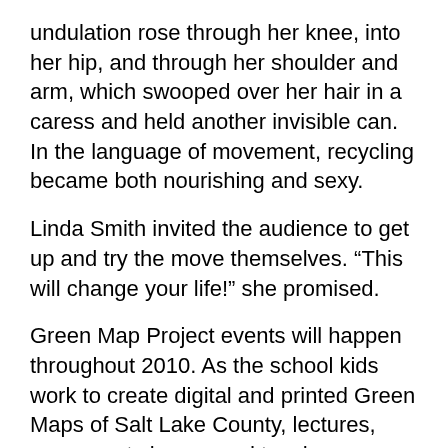undulation rose through her knee, into her hip, and through her shoulder and arm, which swooped over her hair in a caress and held another invisible can. In the language of movement, recycling became both nourishing and sexy.
Linda Smith invited the audience to get up and try the move themselves. “This will change your life!” she promised.
Green Map Project events will happen throughout 2010. As the school kids work to create digital and printed Green Maps of Salt Lake County, lectures, movement classes and teacher workshops will support the process; and finally the Salt Lake County Green Map will be performed for the community.
Amy Brunvand is a librarian at the University of